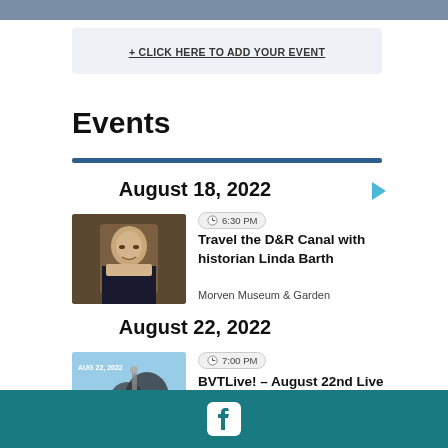+ CLICK HERE TO ADD YOUR EVENT
Events
August 18, 2022
[Figure (photo): Portrait painting of a man in historical attire]
6:30 PM
Travel the D&R Canal with historian Linda Barth
Morven Museum & Garden
August 22, 2022
[Figure (photo): Photo of a live band performance with text Aug 22, 2022]
7:00 PM
BVTLive! – August 22nd Live Band Showcase at Ardmore